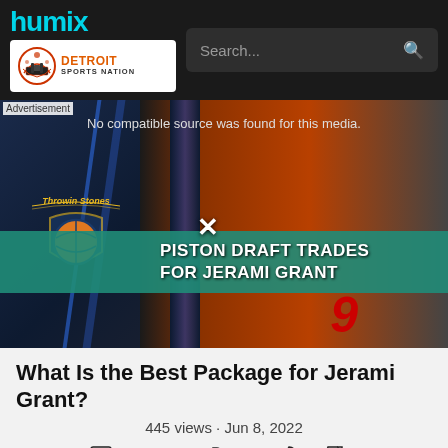humix | Detroit Sports Nation | Search...
[Figure (screenshot): Video thumbnail showing a basketball player holding a ball on an orange/dark background with the text 'PISTON DRAFT TRADES FOR JERAMI GRANT' overlaid on a teal banner, and the Throwin Stones logo on the left. Message: 'No compatible source was found for this media.']
What Is the Best Package for Jerami Grant?
445 views · Jun 8, 2022
Visit Article  Share  0  0